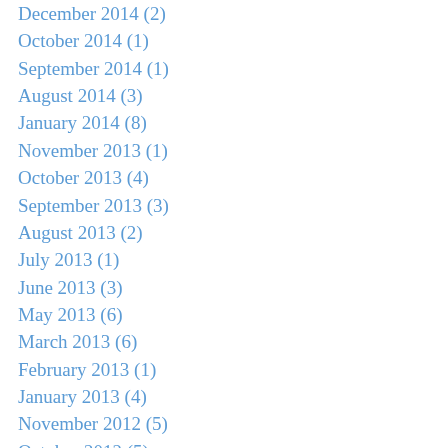December 2014 (2)
October 2014 (1)
September 2014 (1)
August 2014 (3)
January 2014 (8)
November 2013 (1)
October 2013 (4)
September 2013 (3)
August 2013 (2)
July 2013 (1)
June 2013 (3)
May 2013 (6)
March 2013 (6)
February 2013 (1)
January 2013 (4)
November 2012 (5)
October 2012 (5)
September 2012 (6)
August 2012 (2)
July 2012 (3)